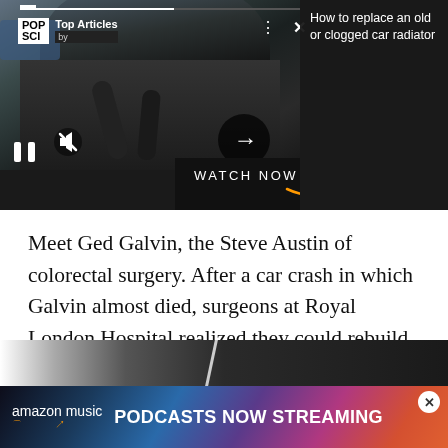[Figure (screenshot): Video player overlay showing a car engine with POP SCI Top Articles sidebar, article preview 'How to replace an old or clogged car radiator', playback controls (pause, mute, arrow), and Amazon Prime Video banner]
Meet Ged Galvin, the Steve Austin of colorectal surgery. After a car crash in which Galvin almost died, surgeons at Royal London Hospital realized they could rebuild his crushed organs. Stronger. Faster. They had the technology to give him a cyborg colon.
[Figure (screenshot): Bottom partial image strip showing dark car-related image]
[Figure (screenshot): Amazon Music advertisement banner: amazon music PODCASTS NOW STREAMING with colorful gradient background and close button]